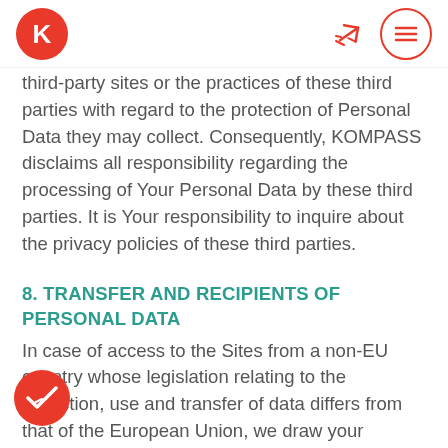KOMPASS
third-party sites or the practices of these third parties with regard to the protection of Personal Data they may collect. Consequently, KOMPASS disclaims all responsibility regarding the processing of Your Personal Data by these third parties. It is Your responsibility to inquire about the privacy policies of these third parties.
8. TRANSFER AND RECIPIENTS OF PERSONAL DATA
In case of access to the Sites from a non-EU country whose legislation relating to the collection, use and transfer of data differs from that of the European Union, we draw your attention to the fact that by continuing to use the Sites, you transfer Your Personal Data to the European Union and consent to such transfer.